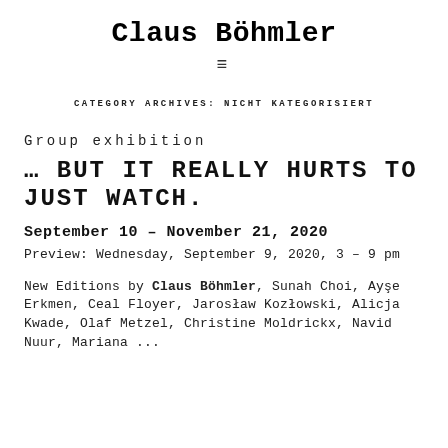Claus Böhmler
CATEGORY ARCHIVES: NICHT KATEGORISIERT
Group exhibition
… BUT IT REALLY HURTS TO JUST WATCH.
September 10 – November 21, 2020
Preview: Wednesday, September 9, 2020, 3 – 9 pm
New Editions by Claus Böhmler, Sunah Choi, Ayşe Erkmen, Ceal Floyer, Jarosław Kozłowski, Alicja Kwade, Olaf Metzel, Christine Moldrickx, Navid Nuur, Mariana ...